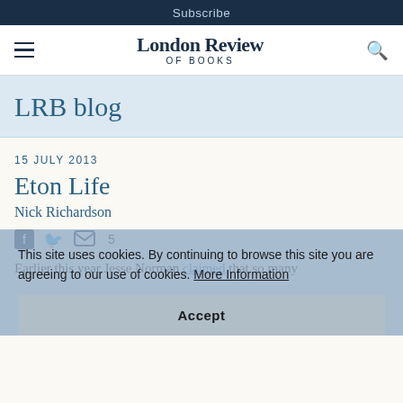Subscribe
London Review OF BOOKS
LRB blog
15 JULY 2013
Eton Life
Nick Richardson
5
This site uses cookies. By continuing to browse this site you are agreeing to our use of cookies. More Information Accept
Earlier this year Jesse Norman claimed that so many